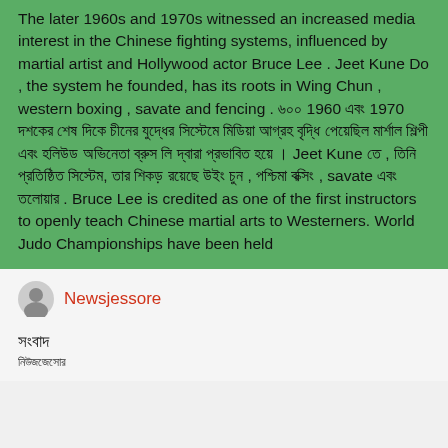The later 1960s and 1970s witnessed an increased media interest in the Chinese fighting systems, influenced by martial artist and Hollywood actor Bruce Lee . Jeet Kune Do , the system he founded, has its roots in Wing Chun , western boxing , savate and fencing . ৬০০ 1960 এবং 1970 দশকের শেষ দিকে চীনের যুদ্ধের সিস্টেমে মিডিয়া আগ্রহ বৃদ্ধি পেয়েছিল মার্শাল শিল্পী এবং হলিউড অভিনেতা ব্রুস লি দ্বারা প্রভাবিত হয়ে । Jeet Kune তে , তিনি প্রতিষ্ঠিত সিস্টেম, তার শিকড় রয়েছে উইং চুন , পশ্চিমা বক্সিং , savate এবং তলোয়ার . Bruce Lee is credited as one of the first instructors to openly teach Chinese martial arts to Westerners. World Judo Championships have been held
Newsjessore
সংবাদ
নিউজজেসোর